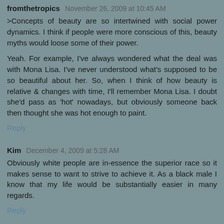fromthetropics  November 26, 2009 at 10:45 AM
>Concepts of beauty are so intertwined with social power dynamics. I think if people were more conscious of this, beauty myths would loose some of their power.

Yeah. For example, I've always wondered what the deal was with Mona Lisa. I've never understood what's supposed to be so beautiful about her. So, when I think of how beauty is relative & changes with time, I'll remember Mona Lisa. I doubt she'd pass as 'hot' nowadays, but obviously someone back then thought she was hot enough to paint.
Reply
Kim  December 4, 2009 at 5:28 AM
Obviously white people are in-essence the superior race so it makes sense to want to strive to achieve it. As a black male I know that my life would be substantially easier in many regards.
Reply